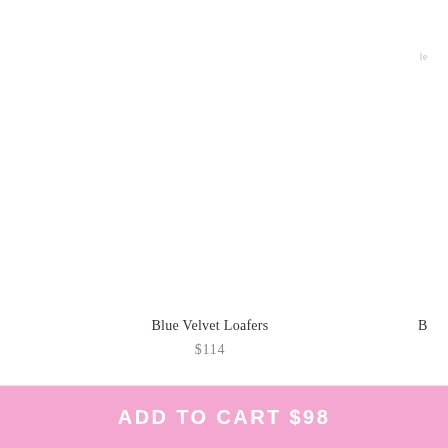On sale
[Figure (photo): Product image area for Blue Velvet Loafers - white/empty product photo area]
Blue Velvet Loafers
$114
B
ADD TO CART $98